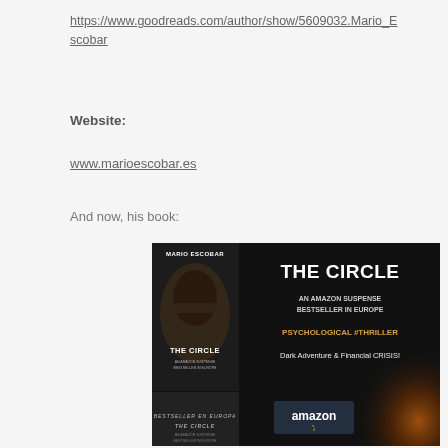https://www.goodreads.com/author/show/5609032.Mario_Escobar
Website:
www.marioescobar.es
And now, his book:
[Figure (photo): Promotional banner for 'The Circle' by Mario Escobar. Black background with a dark book cover on the left showing a person with hands over face. Right side text reads: THE CIRCLE, AN AMAZON SUSPENSE BESTSELLER IN EUROPE, PSYCHOLOGICAL #THRILLER, Dark Adventure & Financial CRISIS! Amazon logo at bottom.]